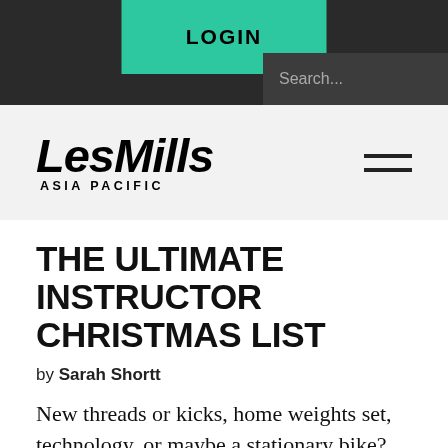LOGIN
Search...
[Figure (logo): LesMills Asia Pacific logo in bold italic black text]
THE ULTIMATE INSTRUCTOR CHRISTMAS LIST
by Sarah Shortt
New threads or kicks, home weights set, technology, or maybe a stationary bike? Treat yo self and have a merry fitmas!